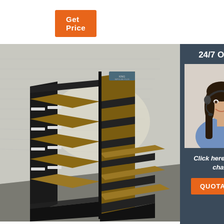Get Price
[Figure (illustration): 3D render of a retail display shelf unit with black frame and wood-grain panels, in a room with white brick wall background]
[Figure (photo): Customer service agent woman with headset smiling, with 24/7 Online label, Click here for free chat text, and QUOTATION button on dark blue-grey background]